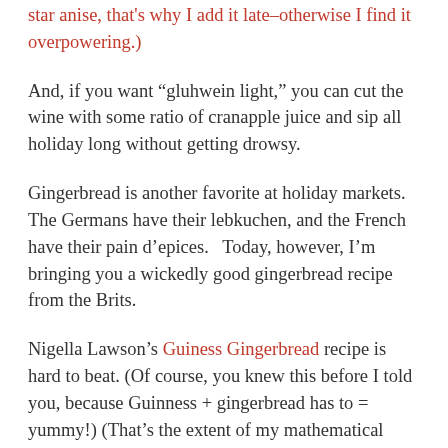star anise, that's why I add it late–otherwise I find it overpowering.)
And, if you want “gluhwein light,” you can cut the wine with some ratio of cranapple juice and sip all holiday long without getting drowsy.
Gingerbread is another favorite at holiday markets. The Germans have their lebkuchen, and the French have their pain d’epices.   Today, however, I’m bringing you a wickedly good gingerbread recipe from the Brits.
Nigella Lawson’s Guiness Gingerbread recipe is hard to beat. (Of course, you knew this before I told you, because Guinness + gingerbread has to = yummy!) (That’s the extent of my mathematical proficiency,